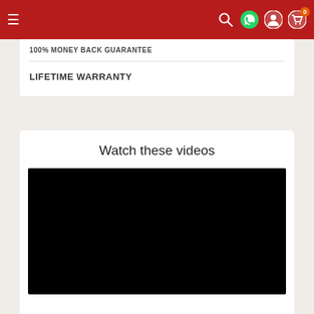Navigation bar with hamburger menu and icons
100% MONEY BACK GUARANTEE
LIFETIME WARRANTY
Watch these videos
[Figure (other): Black video player placeholder]